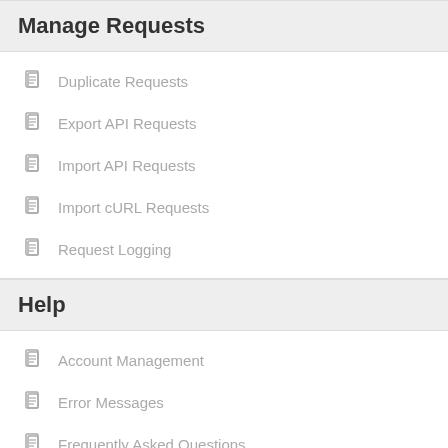Manage Requests
Duplicate Requests
Export API Requests
Import API Requests
Import cURL Requests
Request Logging
Help
Account Management
Error Messages
Frequently Asked Questions
Troubleshooting
Step-by-Step API Guides